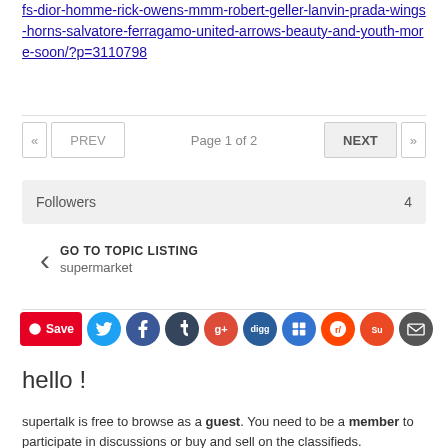fs-dior-homme-rick-owens-mmm-robert-geller-lanvin-prada-wings-horns-salvatore-ferragamo-united-arrows-beauty-and-youth-more-soon/?p=3110798
« PREV   Page 1 of 2   NEXT »
Followers  4
GO TO TOPIC LISTING
supermarket
[Figure (infographic): Row of social media share icons: Pinterest Save, Twitter, Facebook, Tumblr, Google+, Digg, Delicious, Reddit, StumbleUpon, Email]
hello !
supertalk is free to browse as a guest. You need to be a member to participate in discussions or buy and sell on the classifieds.